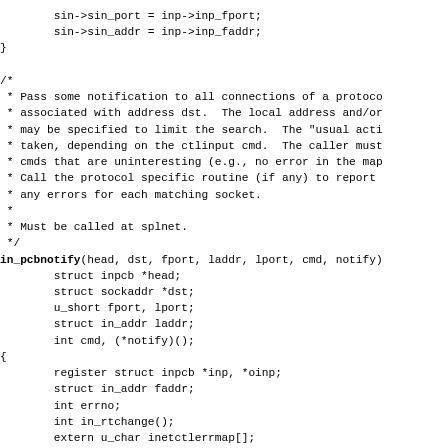sin->sin_port = inp->inp_fport;
        sin->sin_addr = inp->inp_faddr;
}

/*
 * Pass some notification to all connections of a protocol
 * associated with address dst.  The local address and/or
 * may be specified to limit the search.  The "usual acti
 * taken, depending on the ctlinput cmd.  The caller must
 * cmds that are uninteresting (e.g., no error in the map)
 * Call the protocol specific routine (if any) to report
 * any errors for each matching socket.
 *
 * Must be called at splnet.
 */
in_pcbnotify(head, dst, fport, laddr, lport, cmd, notify)
        struct inpcb *head;
        struct sockaddr *dst;
        u_short fport, lport;
        struct in_addr laddr;
        int cmd, (*notify)();
{
        register struct inpcb *inp, *oinp;
        struct in_addr faddr;
        int errno;
        int in_rtchange();
        extern u_char inetctlerrmap[];

        if ((unsigned)cmd > PRC_NCMDS || dst->sa_family
                        return;